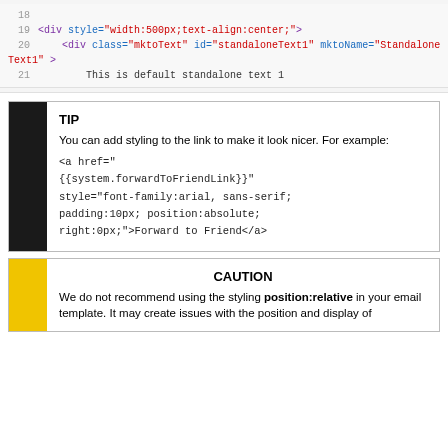[Figure (screenshot): Code snippet showing HTML lines 18-21 with syntax highlighting: line 19 has a div with style width:500px;text-align:center;, line 20 has a div with class mktoText id standaloneText1 mktoName Standalone Text1, line 21 shows This is default standalone text 1]
TIP
You can add styling to the link to make it look nicer. For example:
<a href="{{system.forwardToFriendLink}}" style="font-family:arial, sans-serif; padding:10px; position:absolute; right:0px;">Forward to Friend</a>
CAUTION
We do not recommend using the styling position:relative in your email template. It may create issues with the position and display of